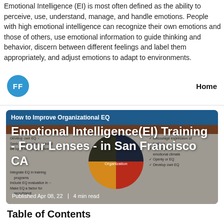Emotional Intelligence (EI) is most often defined as the ability to perceive, use, understand, manage, and handle emotions. People with high emotional intelligence can recognize their own emotions and those of others, use emotional information to guide thinking and behavior, discern between different feelings and label them appropriately, and adjust emotions to adapt to environments.
[Figure (screenshot): Screenshot of a blog card titled 'Emotional Intelligence(EI) Training - Four Lenses - in San Francisco CA' with an infographic about How to Improve Organizational EQ showing a pie chart. Published Apr 08, 22 | 4 min read]
Table of Contents